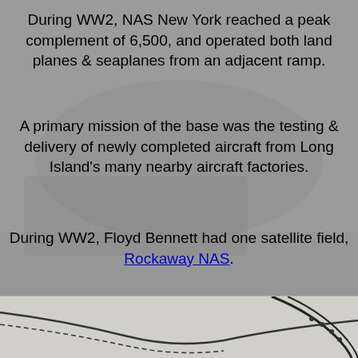[Figure (photo): Faded background photograph of WWII-era aircraft and airfield scene, grayscale/muted tones]
During WW2, NAS New York reached a peak complement of 6,500, and operated both land planes & seaplanes from an adjacent ramp.
A primary mission of the base was the testing & delivery of newly completed aircraft from Long Island's many nearby aircraft factories.
During WW2, Floyd Bennett had one satellite field, Rockaway NAS.
[Figure (map): Partial aerial or topographic map showing runways and field outlines at the bottom of the page]